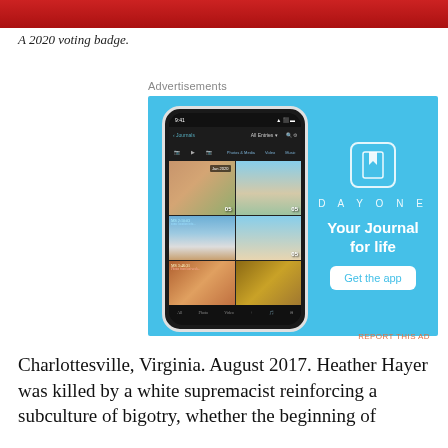[Figure (photo): Red gradient banner at top of page]
A 2020 voting badge.
Advertisements
[Figure (screenshot): DayOne app advertisement showing a smartphone with a photo journal app and the text 'DAYONE - Your Journal for life' with a 'Get the app' button on a blue background]
Charlottesville, Virginia. August 2017. Heather Hayer was killed by a white supremacist reinforcing a subculture of bigotry, whether the beginning of